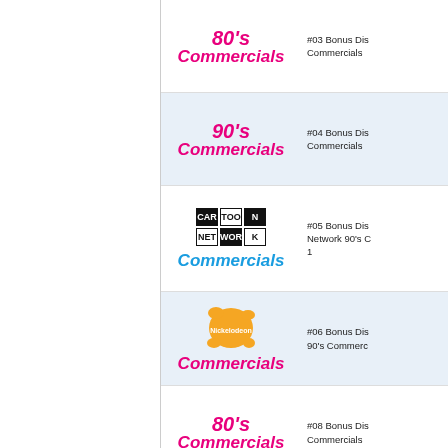[Figure (illustration): 80's Commercials logo - pink cursive script]
#03 Bonus Disc - 80's Commercials
[Figure (illustration): 90's Commercials logo - pink cursive script]
#04 Bonus Disc - 90's Commercials
[Figure (illustration): Cartoon Network Commercials logo - CN block logo with blue cursive Commercials]
#05 Bonus Disc - Cartoon Network 90's Commercials 1
[Figure (illustration): Nickelodeon Commercials logo - orange splat with pink cursive Commercials]
#06 Bonus Disc - Nickelodeon 90's Commercials
[Figure (illustration): 80's Commercials logo - pink cursive script]
#08 Bonus Disc - 80's Commercials
[Figure (illustration): 90's Commercials logo beginning - pink cursive script]
#10 Bonus Disc